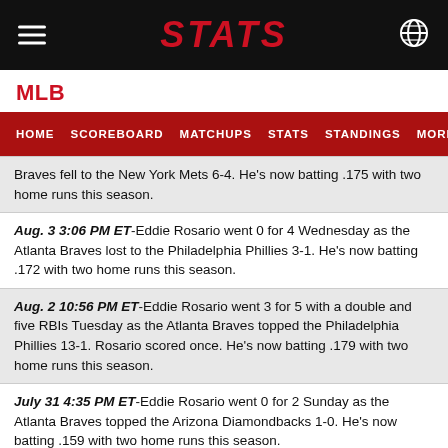STATS
MLB
HOME  SCOREBOARD  MATCHUPS  STATS  STANDINGS  MORE...
Braves fell to the New York Mets 6-4. He's now batting .175 with two home runs this season.
Aug. 3 3:06 PM ET-Eddie Rosario went 0 for 4 Wednesday as the Atlanta Braves lost to the Philadelphia Phillies 3-1. He's now batting .172 with two home runs this season.
Aug. 2 10:56 PM ET-Eddie Rosario went 3 for 5 with a double and five RBIs Tuesday as the Atlanta Braves topped the Philadelphia Phillies 13-1. Rosario scored once. He's now batting .179 with two home runs this season.
July 31 4:35 PM ET-Eddie Rosario went 0 for 2 Sunday as the Atlanta Braves topped the Arizona Diamondbacks 1-0. He's now batting .159 with two home runs this season.
July 30 10:17 PM ET-Eddie Rosario went 1 for 3 with a triple and an RBI Saturday as the Atlanta Braves topped the Arizona Diamondbacks 6-2. Rosario scored twice. He's now batting .162 with two home runs this season.